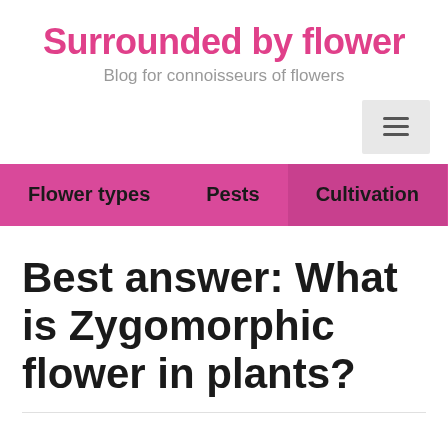Surrounded by flowers
Blog for connoisseurs of flowers
Flower types   Pests   Cultivation
Best answer: What is Zygomorphic flower in plants?